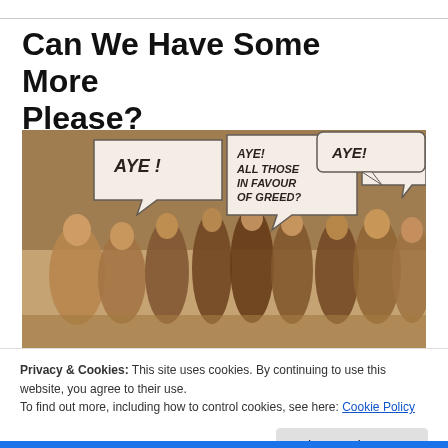Can We Have Some More Please?
[Figure (photo): Sepia-toned group photo of approximately 15-20 people standing together, with comic-book style speech bubbles added reading 'AYE!', 'AYE! ALL THOSE IN FAVOUR OF GREED?', 'AYE!', and 'AYE!']
Privacy & Cookies: This site uses cookies. By continuing to use this website, you agree to their use.
To find out more, including how to control cookies, see here: Cookie Policy